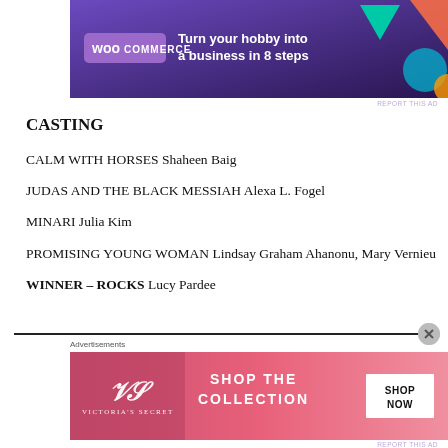[Figure (screenshot): WooCommerce advertisement banner: purple/dark background with WooCommerce logo on left, text 'Turn your hobby into a business in 8 steps', colorful geometric shapes on right]
CASTING
CALM WITH HORSES Shaheen Baig
JUDAS AND THE BLACK MESSIAH Alexa L. Fogel
MINARI Julia Kim
PROMISING YOUNG WOMAN Lindsay Graham Ahanonu, Mary Vernieu
WINNER – ROCKS Lucy Pardee
[Figure (screenshot): Victoria's Secret advertisement banner with model, VS logo, 'SHOP THE COLLECTION' text, and 'SHOP NOW' button]